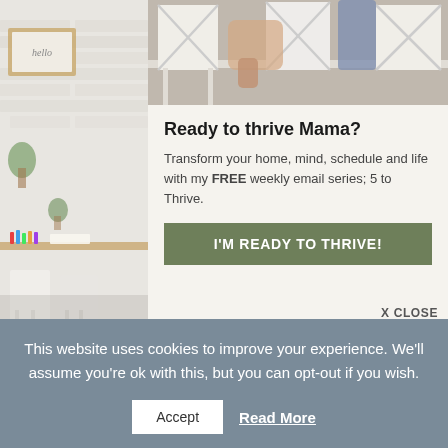[Figure (photo): Background photo showing a home interior with white brick wall, wooden desk, plants, children's chairs, and a woman near white chairs on the right side]
[Figure (photo): Top portion of popup modal showing a person standing near white cross-back chairs around a table]
Ready to thrive Mama?
Transform your home, mind, schedule and life with my FREE weekly email series; 5 to Thrive.
I'M READY TO THRIVE!
X CLOSE
This website uses cookies to improve your experience. We'll assume you're ok with this, but you can opt-out if you wish.
Accept
Read More